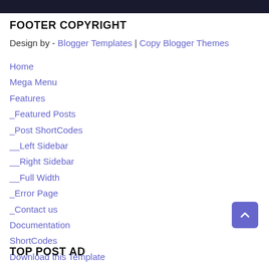FOOTER COPYRIGHT
Design by - Blogger Templates | Copy Blogger Themes
Home
Mega Menu
Features
_Featured Posts
_Post ShortCodes
__Left Sidebar
__Right Sidebar
__Full Width
_Error Page
_Contact us
Documentation
ShortCodes
Download this Template
TOP POST AD